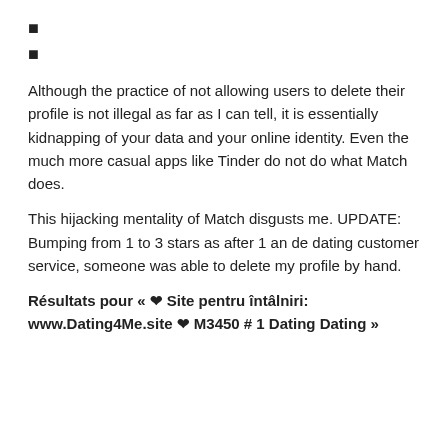■
■
Although the practice of not allowing users to delete their profile is not illegal as far as I can tell, it is essentially kidnapping of your data and your online identity. Even the much more casual apps like Tinder do not do what Match does.
This hijacking mentality of Match disgusts me. UPDATE: Bumping from 1 to 3 stars as after 1 an de dating customer service, someone was able to delete my profile by hand.
Résultats pour « ❤ Site pentru întâlniri: www.Dating4Me.site ❤ M3450 # 1 Dating Dating »